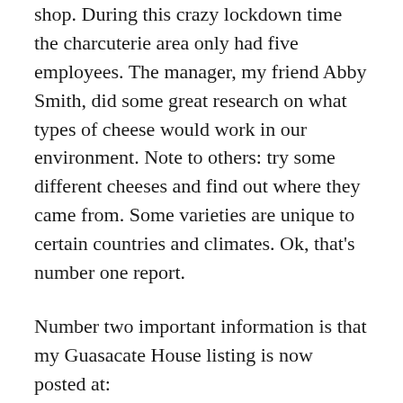shop. During this crazy lockdown time the charcuterie area only had five employees. The manager, my friend Abby Smith, did some great research on what types of cheese would work in our environment. Note to others: try some different cheeses and find out where they came from. Some varieties are unique to certain countries and climates. Ok, that's number one report.
Number two important information is that my Guasacate House listing is now posted at: https://www.nicaraguarealestatehorizon.com/nicaraguarealestate.htm. It is under / Real Estate – La Loma in the listing. Although my agent wanted to add more photos and drone pictures, it has been delightfully raining and prevents alternative photo captures. So if anyone wants a beautiful vacation